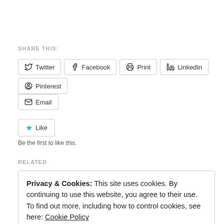SHARE THIS:
Twitter
Facebook
Print
LinkedIn
Pinterest
Email
Like
Be the first to like this.
RELATED
Privacy & Cookies: This site uses cookies. By continuing to use this website, you agree to their use.
To find out more, including how to control cookies, see here: Cookie Policy
Close and accept
Partners in Time
Surprise Feature and